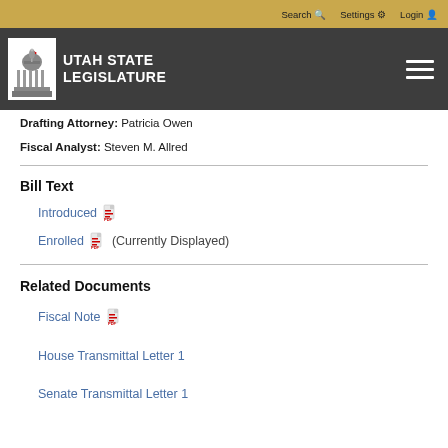Search  Settings  Login
[Figure (logo): Utah State Legislature logo with capitol building and white text on dark background]
Drafting Attorney: Patricia Owen
Fiscal Analyst: Steven M. Allred
Bill Text
Introduced [PDF icon]
Enrolled [PDF icon] (Currently Displayed)
Related Documents
Fiscal Note [PDF icon]
House Transmittal Letter 1
Senate Transmittal Letter 1